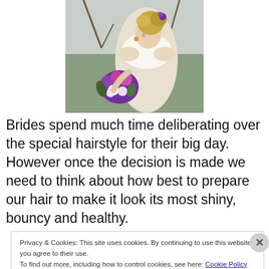[Figure (photo): A bride in a white lace dress holding a purple and white floral bouquet, photographed from the side with an outdoor background.]
Brides spend much time deliberating over the special hairstyle for their big day. However once the decision is made we need to think about how best to prepare our hair to make it look its most shiny, bouncy and healthy.
Privacy & Cookies: This site uses cookies. By continuing to use this website, you agree to their use.
To find out more, including how to control cookies, see here: Cookie Policy
Close and accept